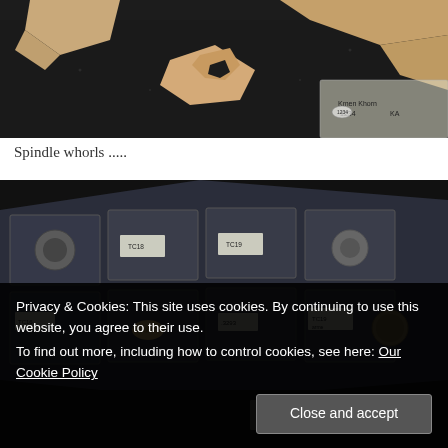[Figure (photo): Archaeological artifacts on a dark surface — ceramic sherds and bone fragments, with a labeled plastic bag visible in the corner.]
Spindle whorls .....
[Figure (photo): Spindle whorls displayed in a clear plastic storage box, arranged in compartments with handwritten labels (TC16, TC19, etc.) and small clay disc artifacts with a coin for scale.]
Privacy & Cookies: This site uses cookies. By continuing to use this website, you agree to their use.
To find out more, including how to control cookies, see here: Our Cookie Policy